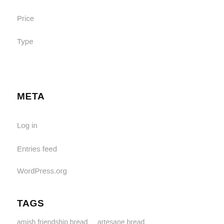Price
Type
META
Log in
Entries feed
WordPress.org
TAGS
amish friendship bread   artesane bread